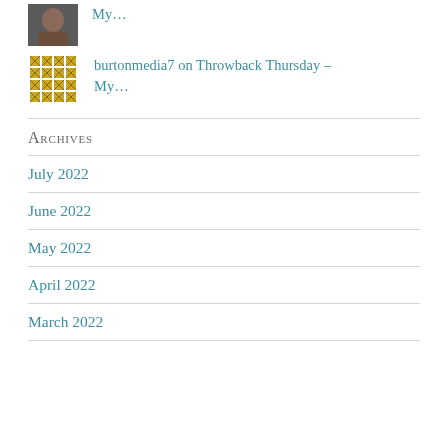My…
burtonmedia7 on Throwback Thursday – My…
Archives
July 2022
June 2022
May 2022
April 2022
March 2022